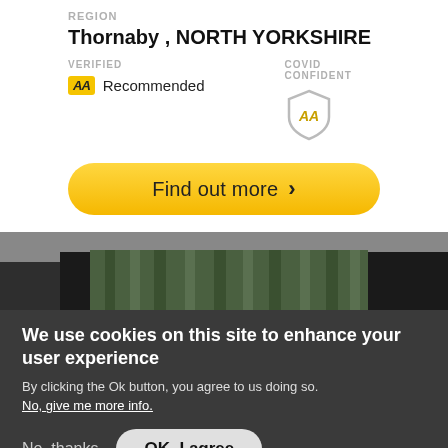REGION
Thornaby , NORTH YORKSHIRE
VERIFIED
COVID CONFIDENT
AA Recommended
Find out more >
[Figure (photo): Interior photo showing green blinds and dark wooden cabinetry]
We use cookies on this site to enhance your user experience
By clicking the Ok button, you agree to us doing so.
No, give me more info.
No, thanks
OK, I agree